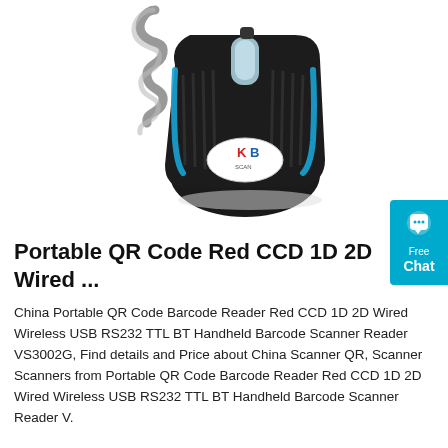[Figure (photo): A black handheld barcode scanner with blue accent trim and a coiled grey USB cable. The scanner has ribbed sides and a white oval logo badge with 'KB' branding on the front. It is photographed from above at an angle against a white background.]
[Figure (infographic): A cyan/teal chat widget button in the top-right corner showing a speech bubble icon, the word 'Free' and 'Chat' in white text.]
Portable QR Code Red CCD 1D 2D Wired ...
China Portable QR Code Barcode Reader Red CCD 1D 2D Wired Wireless USB RS232 TTL BT Handheld Barcode Scanner Reader VS3002G, Find details and Price about China Scanner QR, Scanner Scanners from Portable QR Code Barcode Reader Red CCD 1D 2D Wired Wireless USB RS232 TTL BT Handheld Barcode Scanner Reader V.